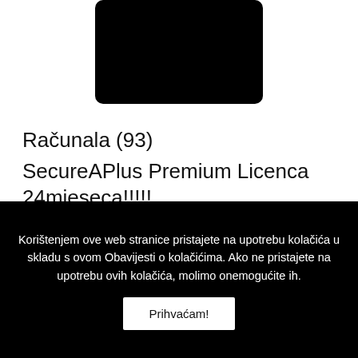[Figure (photo): Black rectangular product image placeholder]
Računala (93)
SecureAPlus Premium Licenca 24mjeseca!!!!!
Korištenjem ove web stranice pristajete na upotrebu kolačića u skladu s ovom Obavijesti o kolačićima. Ako ne pristajete na upotrebu ovih kolačića, molimo onemogućite ih.
Prihvaćam!